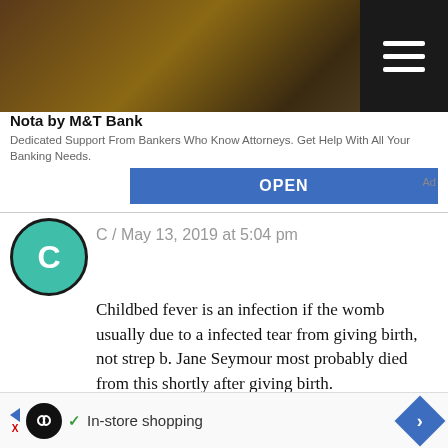[Figure (screenshot): Bank advertisement photo with desk and lamp in background, and hamburger menu icon overlay]
Nota by M&T Bank
Dedicated Support From Bankers Who Know Attorneys. Get Help With All Your Banking Needs.
OPEN
Ad
C / May 13, 2019 at 5:04 pm
Childbed fever is an infection if the womb usually due to a infected tear from giving birth, not strep b. Jane Seymour most probably died from this shortly after giving birth.
Reply
[Figure (screenshot): Bottom advertisement banner with infinity logo and In-store shopping text]